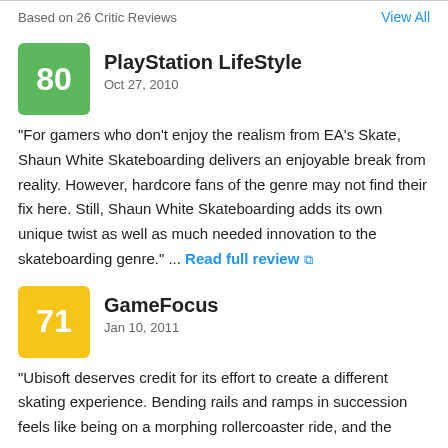Based on 26 Critic Reviews
View All
PlayStation LifeStyle
Oct 27, 2010
"For gamers who don't enjoy the realism from EA's Skate, Shaun White Skateboarding delivers an enjoyable break from reality. However, hardcore fans of the genre may not find their fix here. Still, Shaun White Skateboarding adds its own unique twist as well as much needed innovation to the skateboarding genre." ... Read full review
GameFocus
Jan 10, 2011
"Ubisoft deserves credit for its effort to create a different skating experience. Bending rails and ramps in succession feels like being on a morphing rollercoaster ride, and the